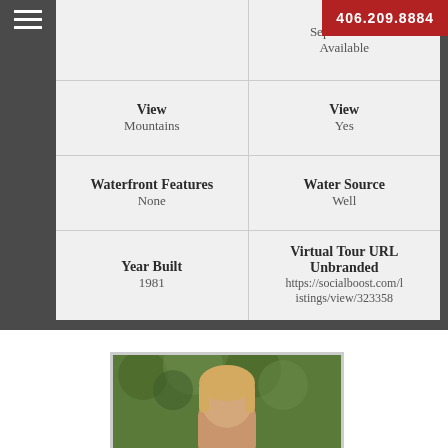| Field | Value |
| --- | --- |
| Septic Availability | Septic Available / Available |
| View | View / Mountains | View | Yes |
| Waterfront Features | None | Water Source | Well |
| Year Built | 1981 | Virtual Tour URL Unbranded | https://socialboost.com/listings/view/323358 |
[Figure (photo): Agent headshot photo with green foliage background, showing a woman with blonde hair]